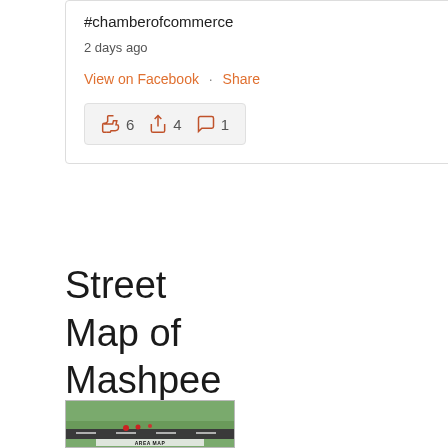#chamberofcommerce
2 days ago
View on Facebook · Share
👍 6  🔁 4  💬 1
Street Map of Mashpee
[Figure (map): Thumbnail image of a street map or aerial view labeled AREA MAP]